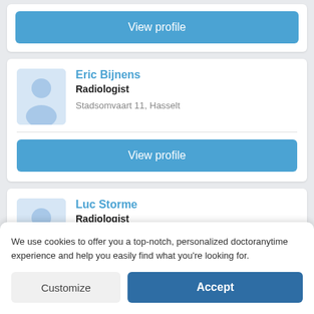[Figure (screenshot): Mobile app screenshot showing doctor listing page with profile cards for radiologists Eric Bijnens and Luc Storme, plus a cookie consent banner]
View profile
Eric Bijnens
Radiologist
Stadsomvaart 11, Hasselt
View profile
Luc Storme
Radiologist
We use cookies to offer you a top-notch, personalized doctoranytime experience and help you easily find what you're looking for.
Customize
Accept